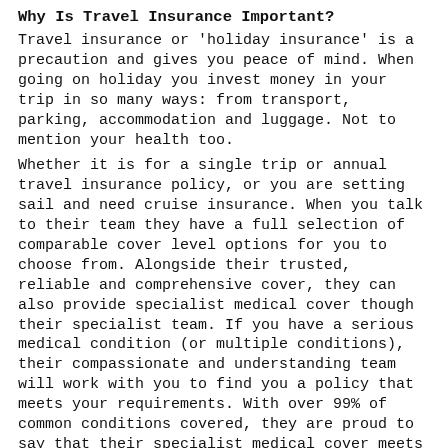Why Is Travel Insurance Important?
Travel insurance or 'holiday insurance' is a precaution and gives you peace of mind. When going on holiday you invest money in your trip in so many ways: from transport, parking, accommodation and luggage. Not to mention your health too.
Whether it is for a single trip or annual travel insurance policy, or you are setting sail and need cruise insurance. When you talk to their team they have a full selection of comparable cover level options for you to choose from. Alongside their trusted, reliable and comprehensive cover, they can also provide specialist medical cover though their specialist team. If you have a serious medical condition (or multiple conditions), their compassionate and understanding team will work with you to find you a policy that meets your requirements. With over 99% of common conditions covered, they are proud to say that their specialist medical cover meets the requirements for inclusion on the Money Advice